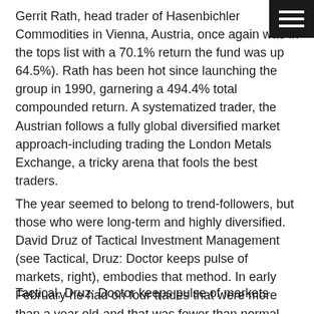Gerrit Rath, head trader of Hasenbichler Commodities in Vienna, Austria, once again was in the tops list with a 70.1% return the fund was up 64.5%). Rath has been hot since launching the group in 1990, garnering a 494.4% total compounded return. A systematized trader, the Austrian follows a fully global diversified market approach-including trading the London Metals Exchange, a tricky arena that fools the best traders.
The year seemed to belong to trend-followers, but those who were long-term and highly diversified. David Druz of Tactical Investment Management (see Tactical, Druz: Doctor keeps pulse of markets, right), embodies that method. In early February he had on four trades that were more than a year old-and that was fewer than normal.
Tactical, Druz: Doctor keeps pulse of markets